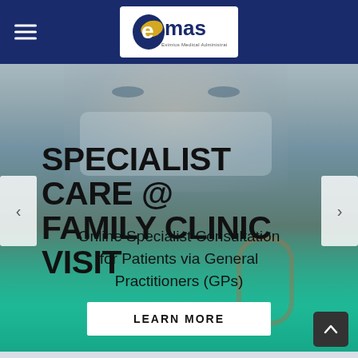EMAS — Eximius Medical Administration Solutions
[Figure (photo): Medical professional / doctor wearing surgical mask and teal scrubs, close-up portrait used as hero background image]
SPECIALIST CARE @ FAMILY CLINIC VISIT
Online Specialist Consultation for Patients via General Practitioners (GPs)
LEARN MORE